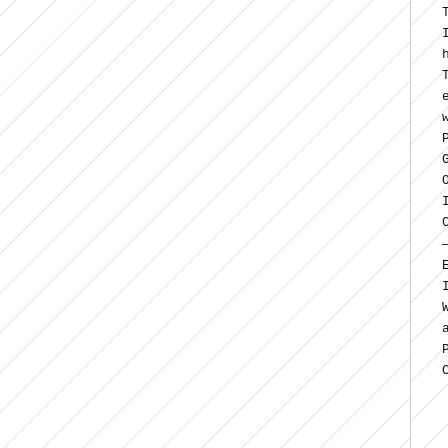[Figure (illustration): Diagonal hatching pattern covering the left portion of the page, consisting of parallel diagonal lines going from upper-left to lower-right on a white background.]
The Pokémon
It's a series t
have fun as i
That is why I
ease
with these ne
Pokémon X a
Genuine ente
October 2013
I look forwar
Ciao!
————————
Ends here.
I'm directing
We're curren
al.
Please wait u
Ciao!